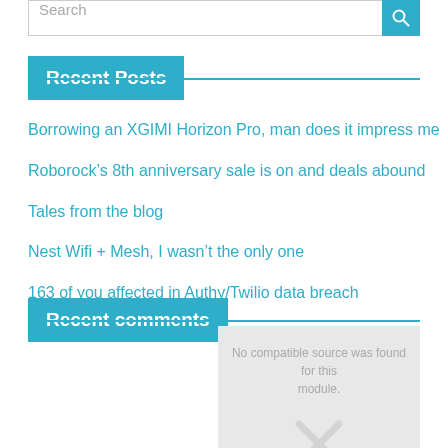Recent Posts
Borrowing an XGIMI Horizon Pro, man does it impress me
Roborock's 8th anniversary sale is on and deals abound
Tales from the blog
Nest Wifi + Mesh, I wasn't the only one
163 of you affected in Authy/Twilio data breach
Recent comments
No compatible source was found for this module.